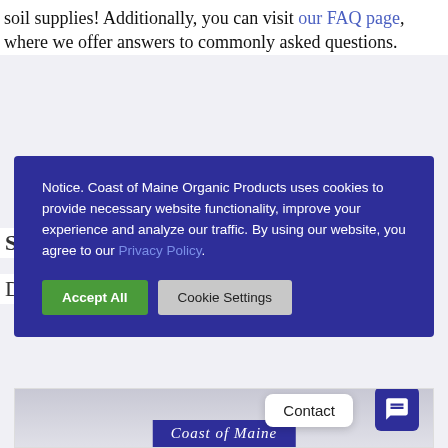soil supplies! Additionally, you can visit our FAQ page, where we offer answers to commonly asked questions.
Notice. Coast of Maine Organic Products uses cookies to provide necessary website functionality, improve your experience and analyze our traffic. By using our website, you agree to our Privacy Policy.
[Figure (screenshot): Cookie consent banner with Accept All and Cookie Settings buttons on a dark blue background]
[Figure (photo): Coast of Maine product packaging photo with Contact chat widget overlay]